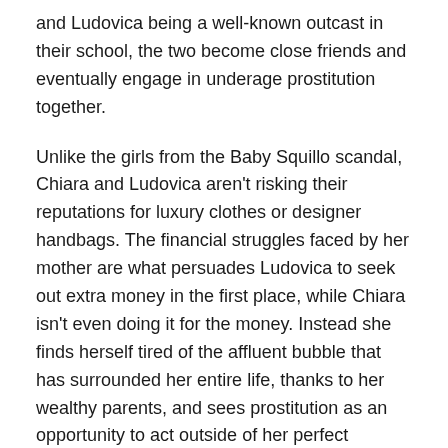and Ludovica being a well-known outcast in their school, the two become close friends and eventually engage in underage prostitution together.
Unlike the girls from the Baby Squillo scandal, Chiara and Ludovica aren't risking their reputations for luxury clothes or designer handbags. The financial struggles faced by her mother are what persuades Ludovica to seek out extra money in the first place, while Chiara isn't even doing it for the money. Instead she finds herself tired of the affluent bubble that has surrounded her entire life, thanks to her wealthy parents, and sees prostitution as an opportunity to act outside of her perfect persona. This distinction between the show and the actual scandal is particularly meaningful, featuring the adversities within the seemingly exemplary lives of its characters.